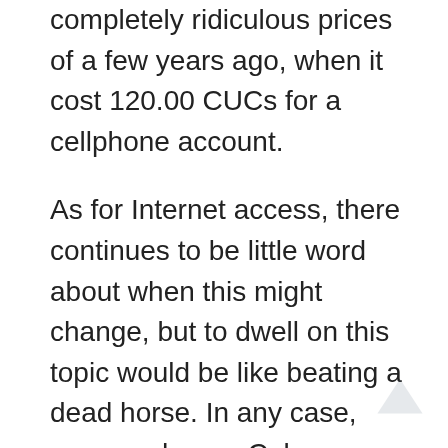completely ridiculous prices of a few years ago, when it cost 120.00 CUCs for a cellphone account.
As for Internet access, there continues to be little word about when this might change, but to dwell on this topic would be like beating a dead horse. In any case, more and more Cubans are using our invaluable cellphones.
As for me personally, I keep running into obsolete aspects in this service that are particular to this country and aren't very beneficial for the customers. But like everybody else, I can't stop feeling…